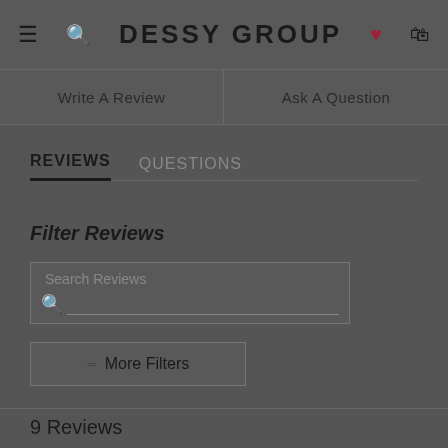DESSY GROUP
Write A Review
Ask A Question
REVIEWS
QUESTIONS
Filter Reviews
Search Reviews
More Filters
9 Reviews
Izabela P.  Verified Buyer